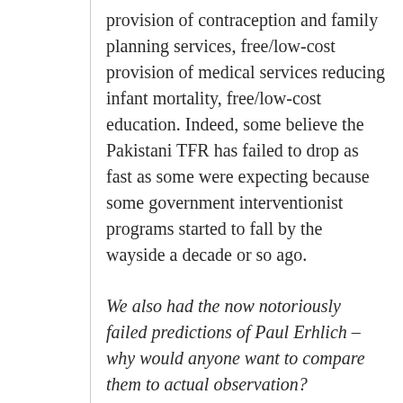provision of contraception and family planning services, free/low-cost provision of medical services reducing infant mortality, free/low-cost education. Indeed, some believe the Pakistani TFR has failed to drop as fast as some were expecting because some government interventionist programs started to fall by the wayside a decade or so ago.
We also had the now notoriously failed predictions of Paul Erhlich – why would anyone want to compare them to actual observation?